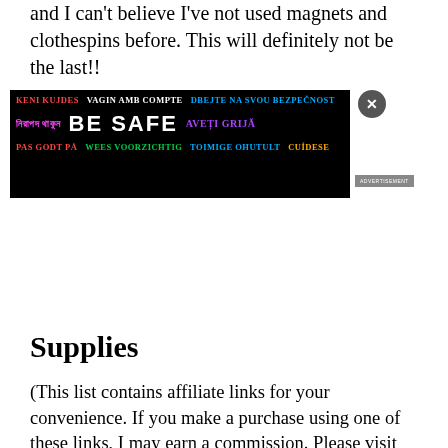and I can't believe I've not used magnets and clothespins before. This will definitely not be the last!!
[Figure (infographic): Advertisement banner on black background with 'BE SAFE' in large white bold text, surrounded by multilingual safety phrases in various colors: KENI KUJDES (red), VAGIN AMB COMPTE (white), DBEJTE NA SVOU BEZPEČNOST (blue), Bengali text (magenta), AVEȚI GRIJĂ (purple), PAS GODT PÅ (red), WEES VOORZICHTIG (green), TOIMIGE OHUTULT (blue), CUÍDESE (orange). Close button (X) in grey circle top right. ADVERTISEMENT badge bottom right.]
Supplies
(This list contains affiliate links for your convenience. If you make a purchase using one of these links, I may earn a commission. Please visit my disclosure policy for more